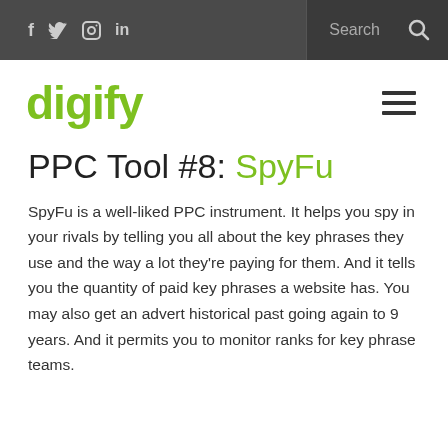f  🐦  📷  in    Search  🔍
digify
PPC Tool #8: SpyFu
SpyFu is a well-liked PPC instrument. It helps you spy in your rivals by telling you all about the key phrases they use and the way a lot they're paying for them. And it tells you the quantity of paid key phrases a website has. You may also get an advert historical past going again to 9 years. And it permits you to monitor ranks for key phrase teams.